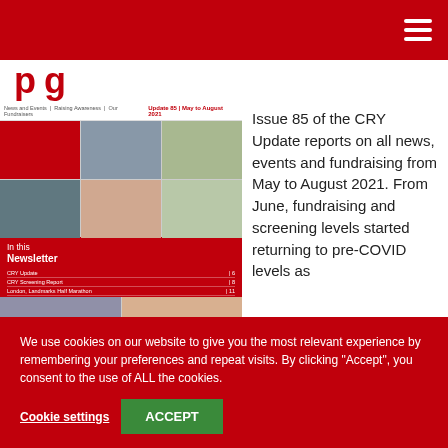CRY (navigation header with hamburger menu)
[Figure (screenshot): Newsletter thumbnail showing 'Update 85 | May to August 2021' with photo collage of runners and fundraising events, and 'In this Newsletter' section in red with items listed]
Issue 85 of the CRY Update reports on all news, events and fundraising from May to August 2021. From June, fundraising and screening levels started returning to pre-COVID levels as
We use cookies on our website to give you the most relevant experience by remembering your preferences and repeat visits. By clicking “Accept”, you consent to the use of ALL the cookies.
Cookie settings
ACCEPT